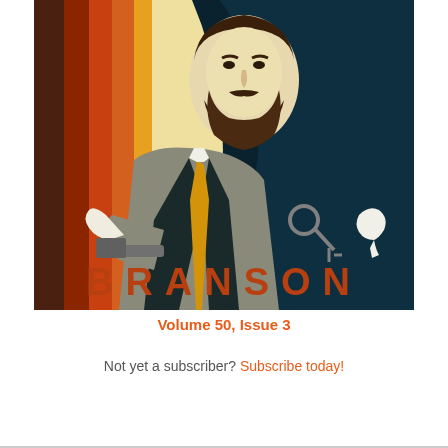[Figure (illustration): Stylized retro illustration of a bearded man in a grey suit with a yellow tie, holding a gun, set against a dark teal background with orange, red, and cream wave patterns. The word BRANSON appears in large brown/orange letters at the bottom of the image.]
Volume 50, Issue 3
Not yet a subscriber? Subscribe today!